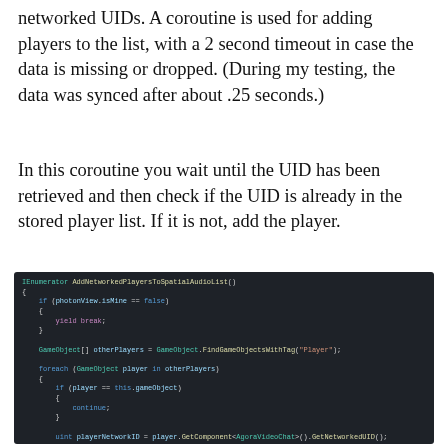networked UIDs. A coroutine is used for adding players to the list, with a 2 second timeout in case the data is missing or dropped. (During my testing, the data was synced after about .25 seconds.)
In this coroutine you wait until the UID has been retrieved and then check if the UID is already in the stored player list. If it is not, add the player.
[Figure (screenshot): Code screenshot showing a C# IEnumerator method AddNetworkedPlayersToSpatialAudioList() with Photon/Agora Unity networking code. The code checks photonView.isMine, finds game objects with tag Player, gets networked UIDs with a timeout loop, and yields return new WaitForSeconds(.05f).]